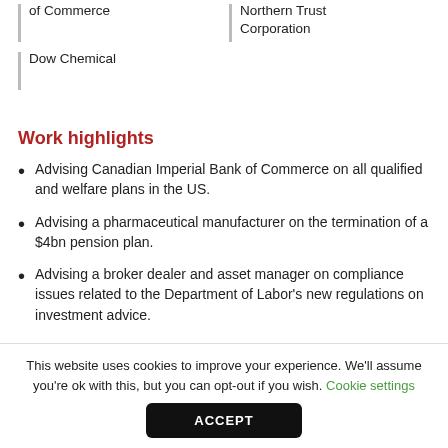of Commerce
Dow Chemical
Northern Trust Corporation
Work highlights
Advising Canadian Imperial Bank of Commerce on all qualified and welfare plans in the US.
Advising a pharmaceutical manufacturer on the termination of a $4bn pension plan.
Advising a broker dealer and asset manager on compliance issues related to the Department of Labor's new regulations on investment advice.
This website uses cookies to improve your experience. We'll assume you're ok with this, but you can opt-out if you wish. Cookie settings
ACCEPT